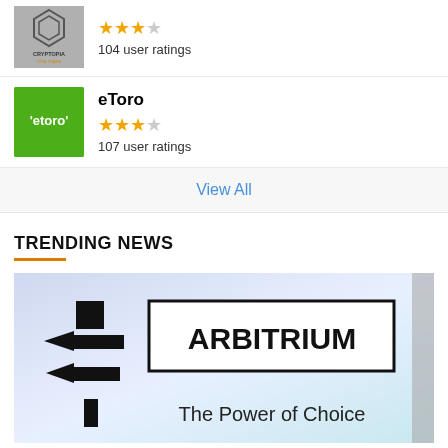[Figure (logo): Cryptopia logo with hexagon pattern and coin trading text on grey background]
104 user ratings
[Figure (logo): eToro logo - white text on green background with arrows]
eToro
107 user ratings
View All
TRENDING NEWS
[Figure (photo): Arbitrium - The Power of Choice promotional image with directional signs and bold text in a bordered box]